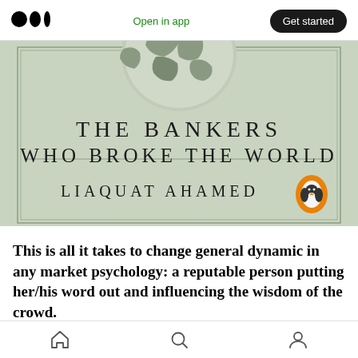Open in app  Get started
[Figure (photo): Book cover of 'Lords of Finance: The Bankers Who Broke the World' by Liaquat Ahamed. Shows a globe illustration at top on a light sage green background, with the book title in spaced serif capitals and the author name below, with a Penguin Books logo.]
This is all it takes to change general dynamic in any market psychology: a reputable person putting her/his word out and influencing the wisdom of the crowd.
Home  Search  Profile